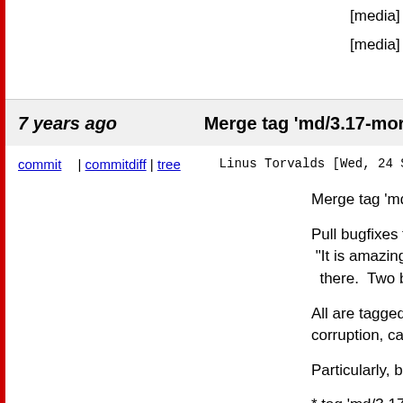[media] videobuf2-dma-sg: fix for wrong
7 years ago   Merge tag 'md/3.17-more-fixes' of git://
commit | commitdiff | tree   Linus Torvalds [Wed, 24 Sep 2014 15:5
Merge tag 'md/3.17-more-fixes' of git://gi

Pull bugfixes for md/raid1 from Neil Brow
 "It is amazing how much easier it is to fi
  there.  Two bug reports resulted in findi

All are tagged for -stable.  Those that ca
corruption, cause lockups.

Particularly, but not only, fixing new "res

* tag 'md/3.17-more-fixes' of git://git.neil.
  md/raid1: fix_read_error should act on a
  md/raid1: count resync requests in nr_p
  md/raid1: update next_resync under res
  md/raid1: Don't use next_resync to dete
  md/raid1: make sure resync waits for co
  md/raid1: clean up request counts prop
  md/raid1: be more cautious where